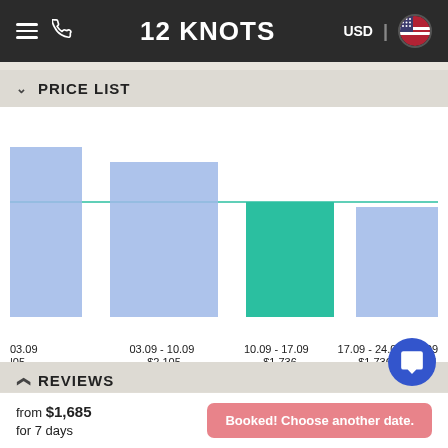12 KNOTS | USD
PRICE LIST
[Figure (bar-chart): Price List]
REVIEWS
MAP
from $1,685 for 7 days
Booked! Choose another date.